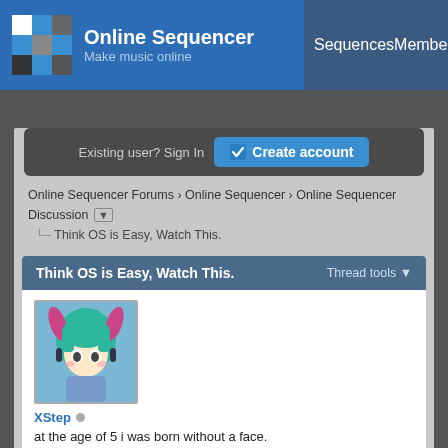Online Sequencer — Make music online | Sequences | Members
Existing user? Sign In   Create account
Online Sequencer Forums › Online Sequencer › Online Sequencer Discussion ▾
Think OS is Easy, Watch This.
Think OS is Easy, Watch This.   Thread tools ▾
[Figure (illustration): Anime avatar of a chibi character with teal/green hair and purple accessories]
XStep
at the age of 5 i was born without a face.